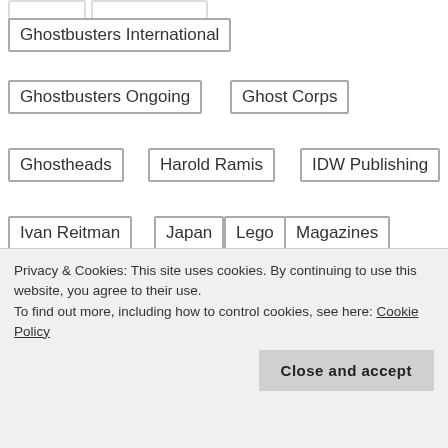Ghostbusters International
Ghostbusters Ongoing
Ghost Corps
Ghostheads
Harold Ramis
IDW Publishing
Ivan Reitman
Japan
Lego
Magazines
Mass Hysteria
Mattel
Media
Merchandise
Mini-Series
Mobile Games
Movies
New York Toy Fair
No Ghost
Privacy & Cookies: This site uses cookies. By continuing to use this website, you agree to their use.
To find out more, including how to control cookies, see here: Cookie Policy
Close and accept